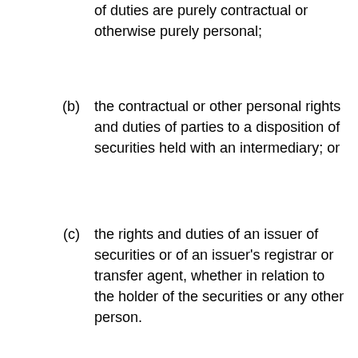of duties are purely contractual or otherwise purely personal;
(b) the contractual or other personal rights and duties of parties to a disposition of securities held with an intermediary; or
(c) the rights and duties of an issuer of securities or of an issuer's registrar or transfer agent, whether in relation to the holder of the securities or any other person.